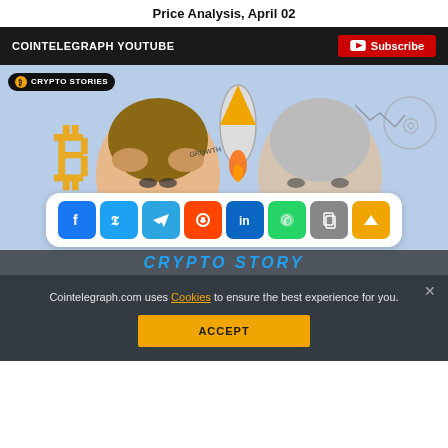Price Analysis, April 02
COINTELEGRAPH YOUTUBE
[Figure (illustration): Crypto Stories YouTube thumbnail showing two animated characters (caricatures) with Bitcoin rocket, Bitcoin logo, and financial charts in the background. Social share buttons (Facebook, Twitter, Telegram, Reddit, LinkedIn, WhatsApp, Copy, Up) overlay the bottom of the image.]
Cointelegraph.com uses Cookies to ensure the best experience for you.
ACCEPT